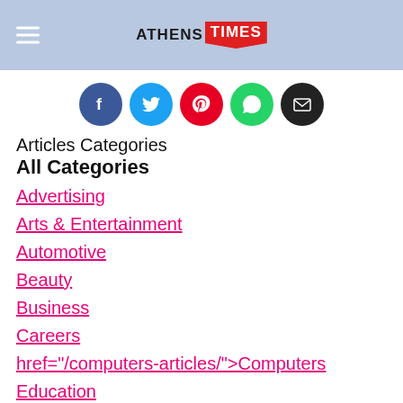ATHENS TIMES
[Figure (other): Social sharing icons row: Facebook (blue circle), Twitter (light blue circle), Pinterest (red circle), WhatsApp (green circle), Email (black circle)]
Articles Categories
All Categories
Advertising
Arts & Entertainment
Automotive
Beauty
Business
Careers
href="/computers-articles/">Computers
Education
Finance
Food and Beverage
Health